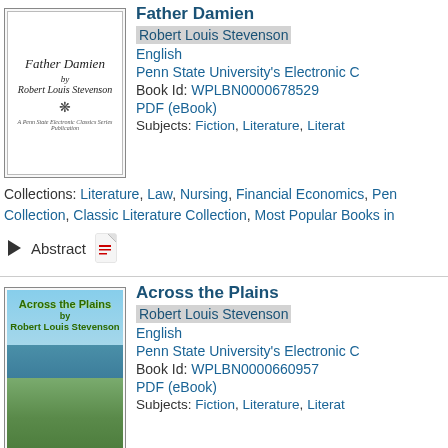[Figure (illustration): Book cover of 'Father Damien by Robert Louis Stevenson', white background with italic text and decorative snowflake symbol, Penn State Electronic Classics series publication]
Father Damien
Robert Louis Stevenson
English
Penn State University's Electronic C
Book Id: WPLBN0000678529
PDF (eBook)
Subjects: Fiction, Literature, Literat
Collections: Literature, Law, Nursing, Financial Economics, Penn Collection, Classic Literature Collection, Most Popular Books in
Abstract
[Figure (illustration): Book cover of 'Across the Plains by Robert Louis Stevenson', landscape background with sea and land, green bold title text]
Across the Plains
Robert Louis Stevenson
English
Penn State University's Electronic C
Book Id: WPLBN0000660957
PDF (eBook)
Subjects: Fiction, Literature, Literat
Collections: Literature, Law, Fine Arts, Penn State University's B Literature Collection, Medicine